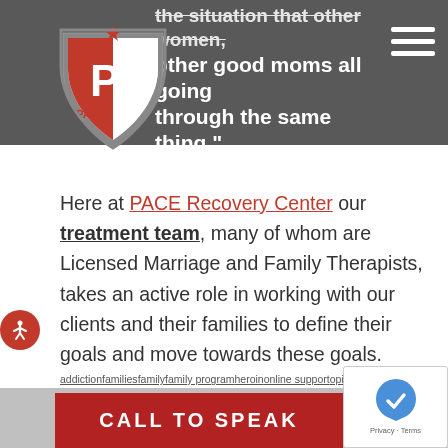other good moms all going through the same thing."
[Figure (logo): PACE Recovery Center shield logo with red and white colors and 'P' letter]
Here at PACE Recovery Center our treatment team, many of whom are Licensed Marriage and Family Therapists, takes an active role in working with our clients and their families to define their goals and move towards these goals.
addictionfamiliesfamilyfamily programheroinonline supportopioid addictsparentsrecoverysupport
CALL TO SPEAK